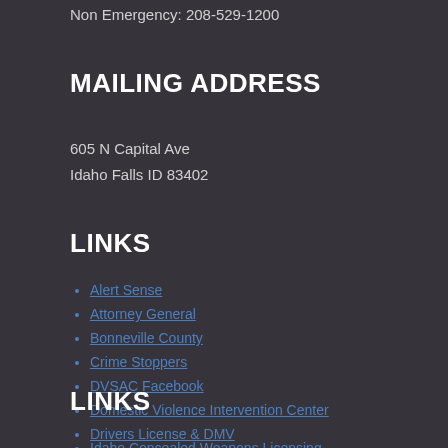Non Emergency: 208-529-1200
MAILING ADDRESS
605 N Capital Ave
Idaho Falls ID 83402
LINKS
Alert Sense
Attorney General
Bonneville County
Crime Stoppers
DVSAC Facebook
Domestic Violence Intervention Center
Drivers License & DMV
Greater Idaho Falls Police Foundation
LINKS
Idaho Concealed Weapons Licensing